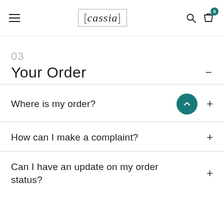cassia — navigation header with hamburger menu, logo, search icon, and shopping bag with badge 0
03
Your Order
Where is my order?
How can I make a complaint?
Can I have an update on my order status?